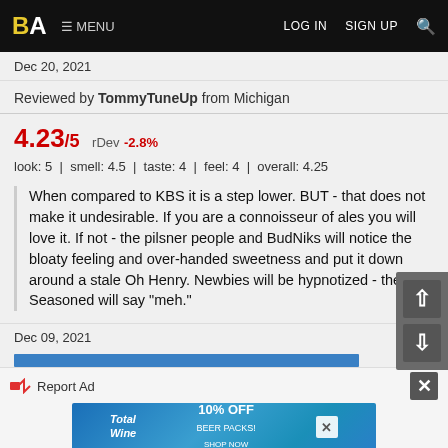BA  MENU  LOG IN  SIGN UP
Dec 20, 2021
Reviewed by TommyTuneUp from Michigan
4.23/5  rDev -2.8%
look: 5 | smell: 4.5 | taste: 4 | feel: 4 | overall: 4.25
When compared to KBS it is a step lower. BUT - that does not make it undesirable. If you are a connoisseur of ales you will love it. If not - the pilsner people and BudNiks will notice the bloaty feeling and over-handed sweetness and put it down around a stale Oh Henry. Newbies will be hypnotized - the Seasoned will say "meh."
Dec 09, 2021
Report Ad